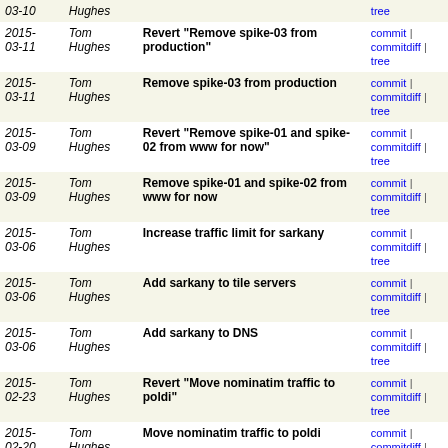| Date | Author | Message | Links |
| --- | --- | --- | --- |
| 2015-03-11 | Tom Hughes | Revert "Remove spike-03 from production" | commit | commitdiff | tree |
| 2015-03-11 | Tom Hughes | Remove spike-03 from production | commit | commitdiff | tree |
| 2015-03-09 | Tom Hughes | Revert "Remove spike-01 and spike-02 from www for now" | commit | commitdiff | tree |
| 2015-03-09 | Tom Hughes | Remove spike-01 and spike-02 from www for now | commit | commitdiff | tree |
| 2015-03-06 | Tom Hughes | Increase traffic limit for sarkany | commit | commitdiff | tree |
| 2015-03-06 | Tom Hughes | Add sarkany to tile servers | commit | commitdiff | tree |
| 2015-03-06 | Tom Hughes | Add sarkany to DNS | commit | commitdiff | tree |
| 2015-02-23 | Tom Hughes | Revert "Move nominatim traffic to poldi" | commit | commitdiff | tree |
| 2015-02-20 | Tom Hughes | Move nominatim traffic to poldi | commit | commitdiff | tree |
| 2015-02-18 | Tom Hughes | Add IPv6 address for poldi | commit | commitdiff | tree |
| 2015-02-18 | Tom Hughes | Update DNS for poldi | commit | commitdiff | tree |
| 2015-02-16 | Tom Hughes | Switch taginfo to stormfly-01 | commit | commitdiff | tree |
| 2015-02-05 | Tom Hughes | Restrict gorynych to Russia for now | commit | commitdiff | tree |